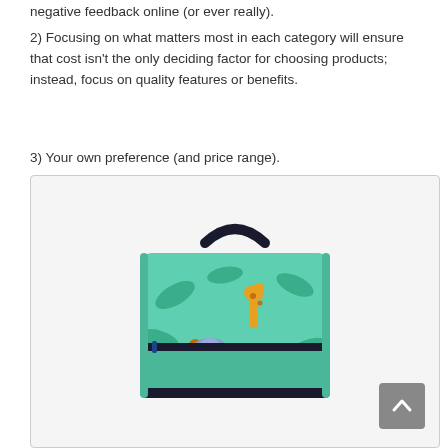negative feedback online (or ever really).
2) Focusing on what matters most in each category will ensure that cost isn't the only deciding factor for choosing products; instead, focus on quality features or benefits.
3) Your own preference (and price range).
[Figure (photo): A children's lunch box with a jungle/safari animal print design on a mint green background, featuring animals like a giraffe, lion, hippo, and monkey. Black handle and zipper trim. Shown against a light gray background with a scroll-to-top button in the bottom right corner.]